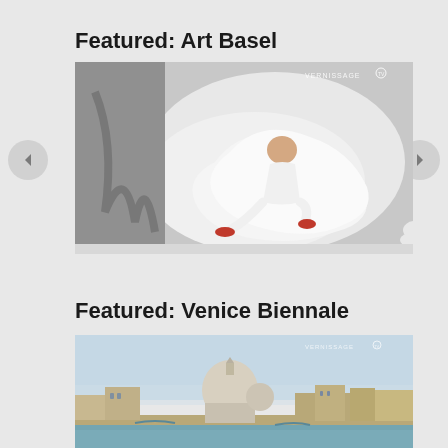Featured: Art Basel
[Figure (photo): Woman in white outfit with red shoes sitting on a sculptural white organic-shaped furniture piece, with a white fluffy cat on the floor. VERNISSAGE TV watermark in top right corner.]
Featured: Venice Biennale
[Figure (photo): Venice skyline with domed basilica Santa Maria della Salute and waterfront buildings seen from the water. VERNISSAGE TV watermark in top right corner.]